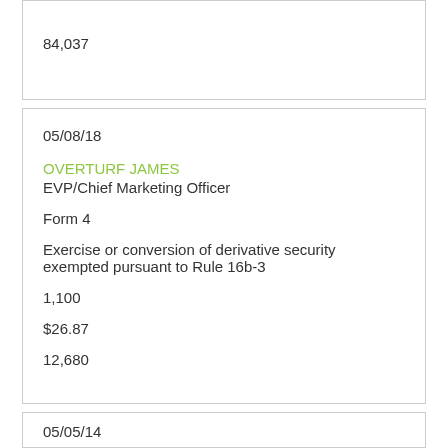84,037
05/08/18
OVERTURF JAMES
EVP/Chief Marketing Officer
Form 4
Exercise or conversion of derivative security exempted pursuant to Rule 16b-3
1,100
$26.87
12,680
05/05/14